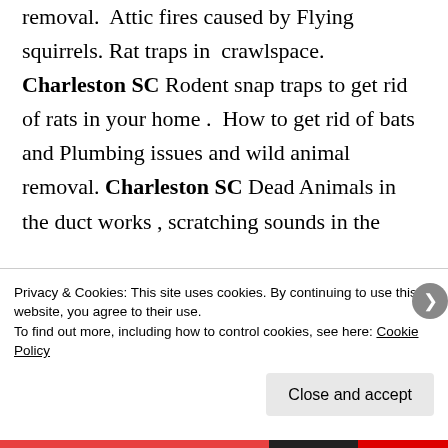removal. Attic fires caused by Flying squirrels. Rat traps in crawlspace. Charleston SC Rodent snap traps to get rid of rats in your home . How to get rid of bats and Plumbing issues and wild animal removal. Charleston SC Dead Animals in the duct works , scratching sounds in the
Privacy & Cookies: This site uses cookies. By continuing to use this website, you agree to their use.
To find out more, including how to control cookies, see here: Cookie Policy
Close and accept